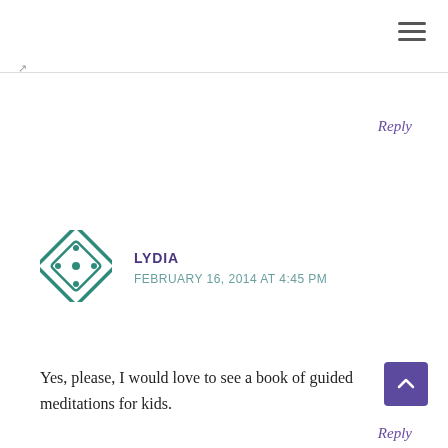☰
↗
Reply
[Figure (logo): Teal geometric diamond/square decorative avatar icon with dots]
LYDIA
FEBRUARY 16, 2014 AT 4:45 PM
Yes, please, I would love to see a book of guided meditations for kids.
[Figure (other): Purple scroll-to-top button with upward chevron arrow]
Reply